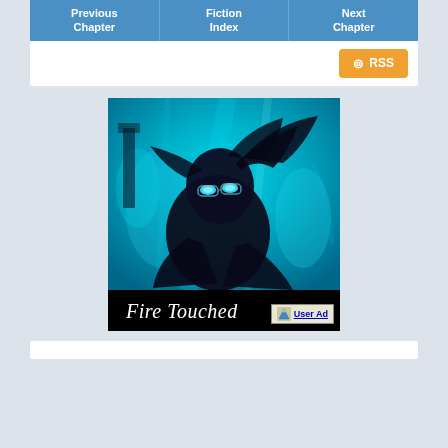Previous Chapter | Fiction Index | Next Chapter
RSS
[Figure (illustration): Book cover for 'Fire Touched' featuring a dark figure with glowing blue eyes and flowing black hair against a teal/cyan background with abstract splash effects. Title 'Fire Touched' in white italic script on black bar at bottom. 'User Ad' badge in lower right corner.]
Fire Touched — User Ad